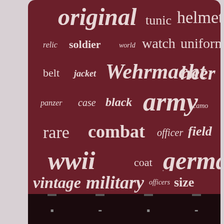[Figure (infographic): Word cloud on dark red background with military/WWII themed terms. Words include: original, tunic, helmet, relic, soldier, world, watch, uniform, belt, jacket, Wehrmacht, heer, panzer, case, black, army, camo, rare, combat, officer, field, wwii, coat, german, wristwatch, elite, repro, swiss, vintage, military, officers, size. Words vary in size indicating frequency/importance.]
Index
Contact
Privacy Policies